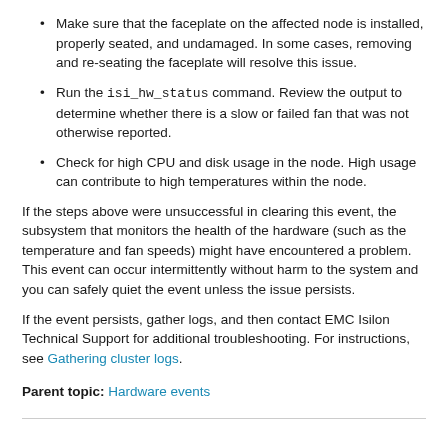Make sure that the faceplate on the affected node is installed, properly seated, and undamaged. In some cases, removing and re-seating the faceplate will resolve this issue.
Run the isi_hw_status command. Review the output to determine whether there is a slow or failed fan that was not otherwise reported.
Check for high CPU and disk usage in the node. High usage can contribute to high temperatures within the node.
If the steps above were unsuccessful in clearing this event, the subsystem that monitors the health of the hardware (such as the temperature and fan speeds) might have encountered a problem. This event can occur intermittently without harm to the system and you can safely quiet the event unless the issue persists.
If the event persists, gather logs, and then contact EMC Isilon Technical Support for additional troubleshooting. For instructions, see Gathering cluster logs.
Parent topic: Hardware events